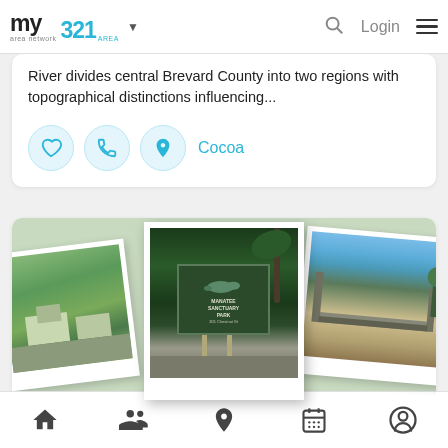my area network | 321 AREA | Login
River divides central Brevard County into two regions with topographical distinctions influencing...
Cocoa
[Figure (photo): Photo collage of Manatee Sanctuary Park showing aerial views, park sign, and waterfront structures in polaroid-style frames]
Manatee Sanctuary Park
Recreation $$
701 Thurm Blvd, Cape Canaveral FL 32920
Bottom navigation bar with home, people, location, calendar, and profile icons